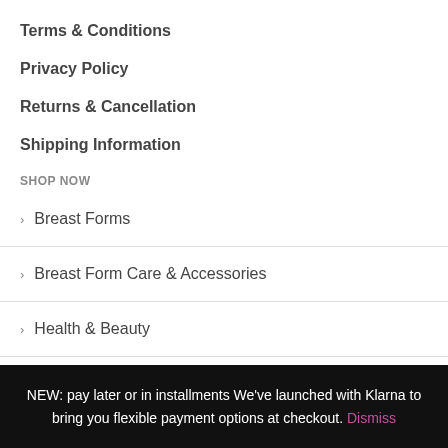Terms & Conditions
Privacy Policy
Returns & Cancellation
Shipping Information
SHOP NOW
Breast Forms
Breast Form Care & Accessories
Health & Beauty
Intimates
Shop by Brand
NEW: pay later or in installments We've launched with Klarna to bring you flexible payment options at checkout. Dismiss